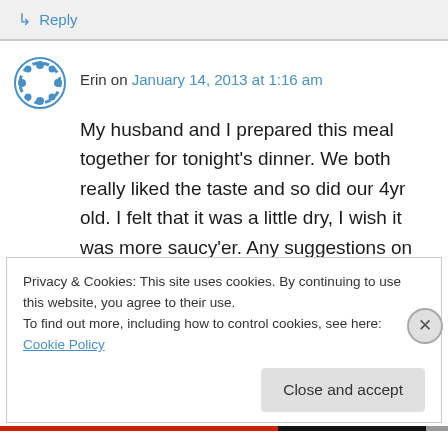↳ Reply
Erin on January 14, 2013 at 1:16 am
My husband and I prepared this meal together for tonight's dinner. We both really liked the taste and so did our 4yr old. I felt that it was a little dry, I wish it was more saucy'er. Any suggestions on that? Now that I have some new spices I think I might try more Indian recipes.
Privacy & Cookies: This site uses cookies. By continuing to use this website, you agree to their use.
To find out more, including how to control cookies, see here: Cookie Policy
Close and accept